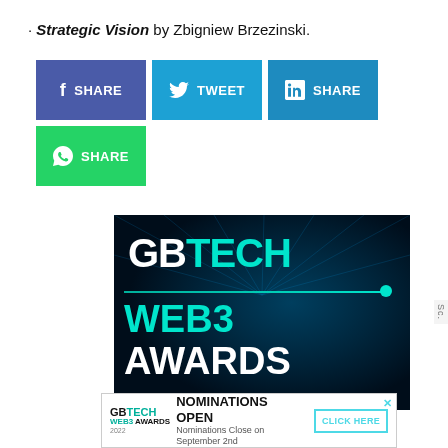Strategic Vision by Zbigniew Brzezinski.
[Figure (infographic): Social media share buttons: Facebook SHARE (dark blue), Twitter TWEET (cyan), LinkedIn SHARE (blue), WhatsApp SHARE (green)]
[Figure (infographic): GB TECH WEB3 AWARDS advertisement banner with dark blue background and cyan/teal text with a decorative line and dot]
[Figure (infographic): GB TECH WEB3 AWARDS bottom banner ad with NOMINATIONS OPEN text and CLICK HERE button, with close X]